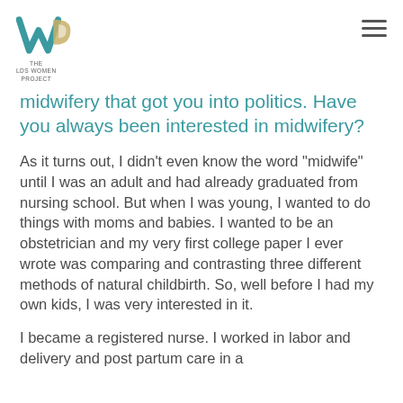THE LDS WOMEN PROJECT
midwifery that got you into politics. Have you always been interested in midwifery?
As it turns out, I didn’t even know the word “midwife” until I was an adult and had already graduated from nursing school. But when I was young, I wanted to do things with moms and babies. I wanted to be an obstetrician and my very first college paper I ever wrote was comparing and contrasting three different methods of natural childbirth. So, well before I had my own kids, I was very interested in it.
I became a registered nurse. I worked in labor and delivery and post partum care in a